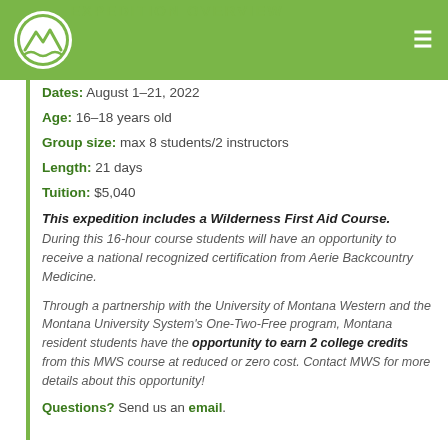EXPEDITION OVERVIEW
[Figure (logo): Mountain wilderness school circular logo with mountain/wave design]
Dates: August 1–21, 2022
Age: 16–18 years old
Group size: max 8 students/2 instructors
Length: 21 days
Tuition: $5,040
This expedition includes a Wilderness First Aid Course. During this 16-hour course students will have an opportunity to receive a national recognized certification from Aerie Backcountry Medicine.
Through a partnership with the University of Montana Western and the Montana University System's One-Two-Free program, Montana resident students have the opportunity to earn 2 college credits from this MWS course at reduced or zero cost. Contact MWS for more details about this opportunity!
Questions? Send us an email.